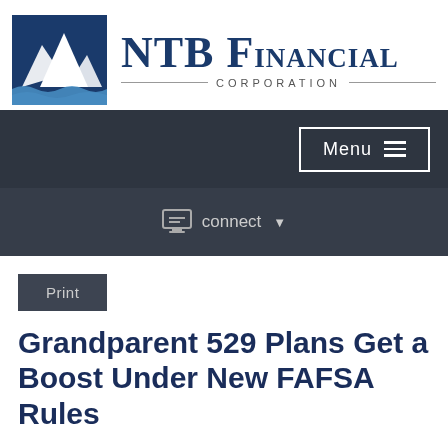[Figure (logo): NTB Financial Corporation logo with mountain and wave graphic in blue and white square, followed by company name 'NTB Financial' in large dark blue serif font with 'CORPORATION' in small caps below]
Menu
connect
Print
Grandparent 529 Plans Get a Boost Under New FAFSA Rules